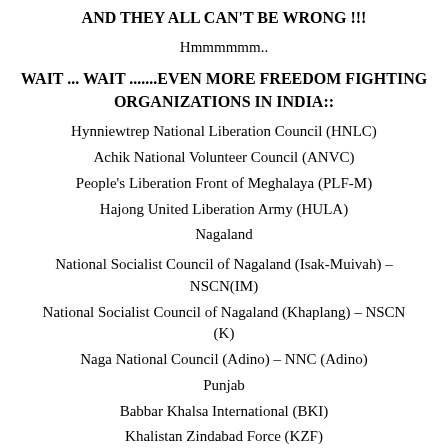AND THEY ALL CAN'T BE WRONG !!!
Hmmmmmm..
WAIT ... WAIT .......EVEN MORE FREEDOM FIGHTING ORGANIZATIONS IN INDIA::
Hynniewtrep National Liberation Council (HNLC)
Achik National Volunteer Council (ANVC)
People's Liberation Front of Meghalaya (PLF-M)
Hajong United Liberation Army (HULA)
Nagaland
National Socialist Council of Nagaland (Isak-Muivah) – NSCN(IM)
National Socialist Council of Nagaland (Khaplang) – NSCN (K)
Naga National Council (Adino) – NNC (Adino)
Punjab
Babbar Khalsa International (BKI)
Khalistan Zindabad Force (KZF)
International Sikh Youth Federation (ISYF)
Khalistan Commando Force (KCF)
All-India Sikh Students Federation (AISSF)
Bhindala Tigers Force of Khalistan (BTFK)